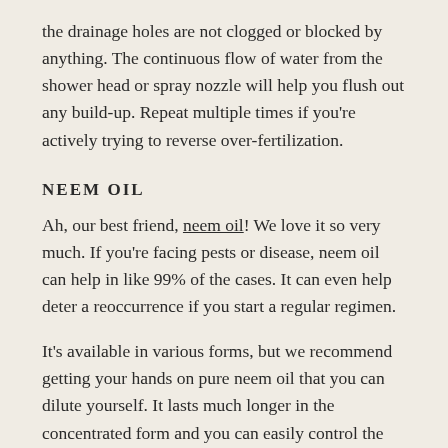the drainage holes are not clogged or blocked by anything. The continuous flow of water from the shower head or spray nozzle will help you flush out any build-up. Repeat multiple times if you're actively trying to reverse over-fertilization.
NEEM OIL
Ah, our best friend, neem oil! We love it so very much. If you're facing pests or disease, neem oil can help in like 99% of the cases. It can even help deter a reoccurrence if you start a regular regimen.
It's available in various forms, but we recommend getting your hands on pure neem oil that you can dilute yourself. It lasts much longer in the concentrated form and you can easily control the dilution for either treatment or preventative